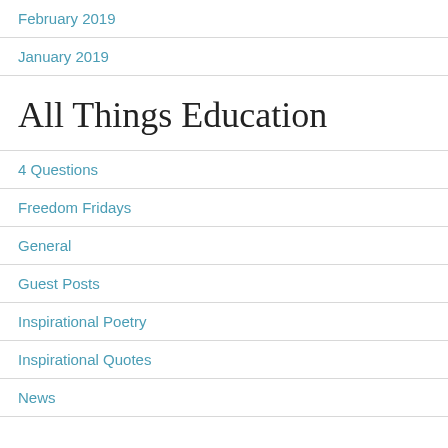February 2019
January 2019
All Things Education
4 Questions
Freedom Fridays
General
Guest Posts
Inspirational Poetry
Inspirational Quotes
News